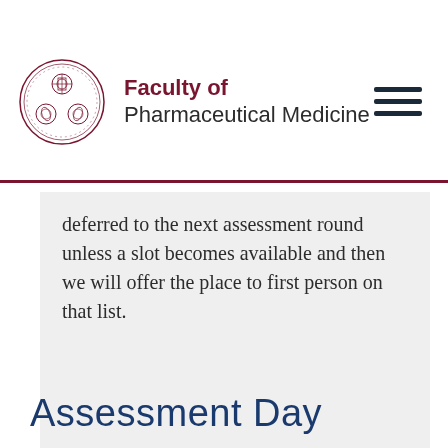Faculty of Pharmaceutical Medicine
deferred to the next assessment round unless a slot becomes available and then we will offer the place to first person on that list.
Assessment Day